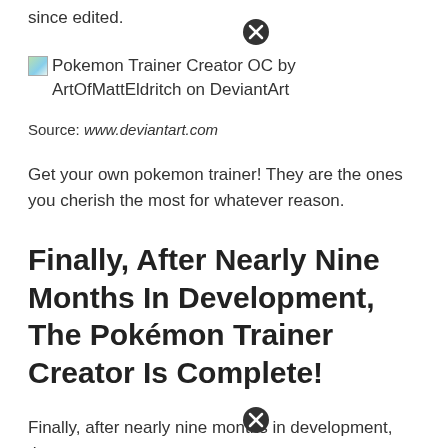since edited.
[Figure (illustration): Broken image placeholder with alt text: Pokemon Trainer Creator OC by ArtOfMattEldritch on DeviantArt]
Source: www.deviantart.com
Get your own pokemon trainer! They are the ones you cherish the most for whatever reason.
Finally, After Nearly Nine Months In Development, The Pokémon Trainer Creator Is Complete!
Finally, after nearly nine months in development, the